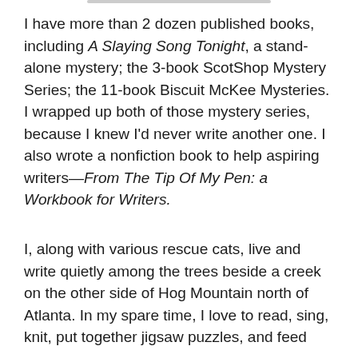I have more than 2 dozen published books, including A Slaying Song Tonight, a stand-alone mystery; the 3-book ScotShop Mystery Series; the 11-book Biscuit McKee Mysteries. I wrapped up both of those mystery series, because I knew I'd never write another one. I also wrote a nonfiction book to help aspiring writers—From The Tip Of My Pen: a Workbook for Writers.
I, along with various rescue cats, live and write quietly among the trees beside a creek on the other side of Hog Mountain north of Atlanta. In my spare time, I love to read, sing, knit, put together jigsaw puzzles, and feed